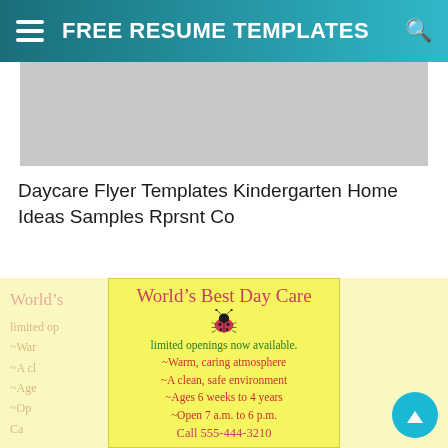FREE RESUME TEMPLATES
[Figure (photo): Gray placeholder image area at top of page content below header]
Daycare Flyer Templates Kindergarten Home Ideas Samples Rprsnt Co
[Figure (illustration): Daycare flyer showing World's Best Day Care with a ladybug illustration. Text reads: limited openings now available. ~Warm, caring atmosphere ~A clean, safe environment ~Ages 6 weeks to 4 years ~Open 7 a.m. to 6 p.m. Call 555-444-3210. Yellow background flyer repeated behind as shadow.]